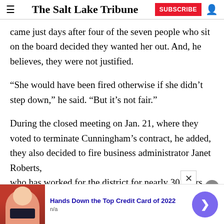The Salt Lake Tribune
came just days after four of the seven people who sit on the board decided they wanted her out. And, he believes, they were not justified.
“She would have been fired otherwise if she didn’t step down,” he said. “But it’s not fair.”
During the closed meeting on Jan. 21, where they voted to terminate Cunningham’s contract, he added, they also decided to fire business administrator Janet Roberts, who has worked for the district for nearly 30 years
[Figure (other): Advertisement banner: Hands Down the Top Credit Card of 2022, n/a, with image of woman holding credit card]